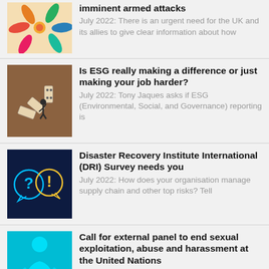[Figure (illustration): Colorful hands reaching together illustration on beige background]
imminent armed attacks
July 2022: There is an urgent need for the UK and its allies to give clear information about how
[Figure (illustration): Person pushing over dominos illustration on brown background]
Is ESG really making a difference or just making your job harder?
July 2022: Tony Jaques asks if ESG (Environmental, Social, and Governance) reporting is
[Figure (illustration): Question mark and exclamation mark speech bubbles in neon on dark navy background]
Disaster Recovery Institute International (DRI) Survey needs you
July 2022: How does your organisation manage supply chain and other top risks? Tell
[Figure (illustration): Silhouette of person on cyan/teal blue background]
Call for external panel to end sexual exploitation, abuse and harassment at the United Nations
CBI 47.3 will recognise civil...